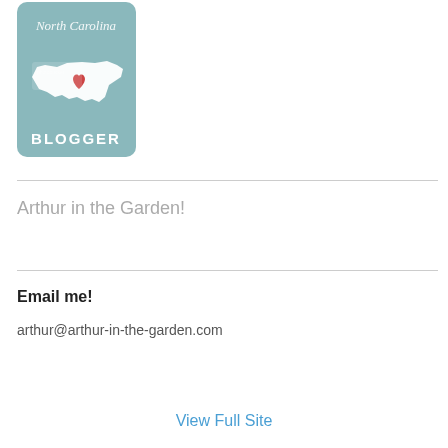[Figure (illustration): North Carolina blogger badge: teal/grey background with rounded corners, white silhouette of North Carolina state with a red heart, text 'North Carolina' in cursive at top and 'BLOGGER' in white block letters at bottom. Photobucket watermark overlay visible.]
Arthur in the Garden!
Email me!
arthur@arthur-in-the-garden.com
View Full Site